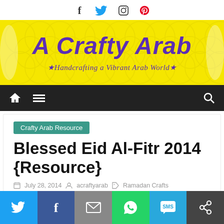Social icons: Facebook, Twitter, Instagram, Pinterest
[Figure (logo): A Crafty Arab blog banner — yellow background with Moroccan pattern, purple bold italic text 'A Crafty Arab' and subtitle '*Handcrafting a Vibrant Arab World*']
[Figure (screenshot): Navigation bar with home icon, hamburger menu icon, and search icon on dark background]
Crafty Arab Resource
Blessed Eid Al-Fitr 2014 {Resource}
July 28, 2014  acraftyarab  Ramadan Crafts
[Figure (infographic): Share bar with Twitter, Facebook, Email, WhatsApp, SMS, and another sharing icon buttons in various colors]